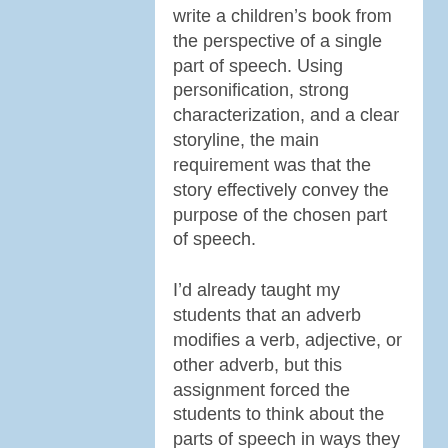write a children's book from the perspective of a single part of speech. Using personification, strong characterization, and a clear storyline, the main requirement was that the story effectively convey the purpose of the chosen part of speech.
I'd already taught my students that an adverb modifies a verb, adjective, or other adverb, but this assignment forced the students to think about the parts of speech in ways they could relate to. An adverb as a definition was